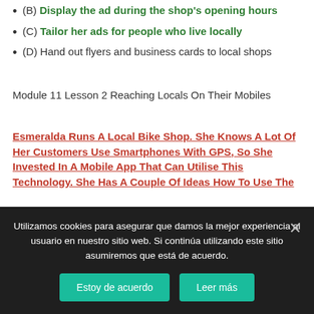(B) Display the ad during the shop's opening hours
(C) Tailor her ads for people who live locally
(D) Hand out flyers and business cards to local shops
Module 11 Lesson 2 Reaching Locals On Their Mobiles
Esmeralda Runs A Local Bike Shop. She Knows A Lot Of Her Customers Use Smartphones With GPS, So She Invested In A Mobile App That Can Utilise This Technology. She Has A Couple Of Ideas How To Use The
Utilizamos cookies para asegurar que damos la mejor experiencia al usuario en nuestro sitio web. Si continúa utilizando este sitio asumiremos que está de acuerdo.